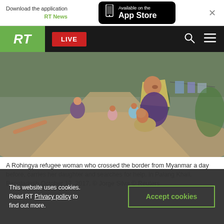Download the application RT News | Available on the App Store
[Figure (screenshot): RT navigation bar with green RT logo, LIVE red button, search and menu icons on dark background]
[Figure (photo): A Rohingya refugee woman carrying her young daughter in a camp setting with other people in background]
A Rohingya refugee woman who crossed the border from Myanmar a day before, carries her daughter and searches for help, in Palang Khali, Bangladesh October 17, 2017. © Jorge Silva © Reuters
This website uses cookies. Read RT Privacy policy to find out more.